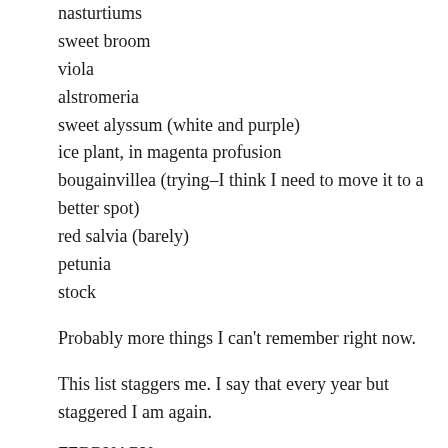nasturtiums
sweet broom
viola
alstromeria
sweet alyssum (white and purple)
ice plant, in magenta profusion
bougainvillea (trying–I think I need to move it to a better spot)
red salvia (barely)
petunia
stock
Probably more things I can't remember right now.
This list staggers me. I say that every year but staggered I am again.
FEBRUARY.